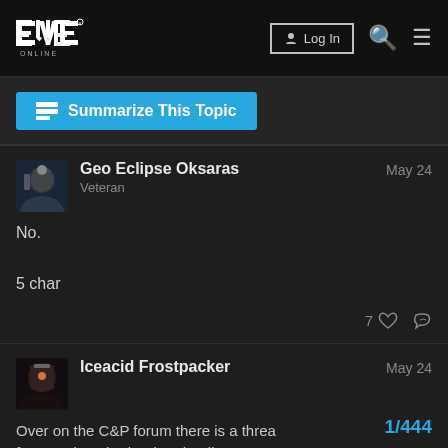EVE ONLINE — Log In
Summarize This Topic
Geo Eclipse Oksaras — Veteran — May 24
No.
5 char
7 likes
Iceacid Frostpacker — May 24
Over on the C&P forum there is a threa few good methods when hauling.
1/444